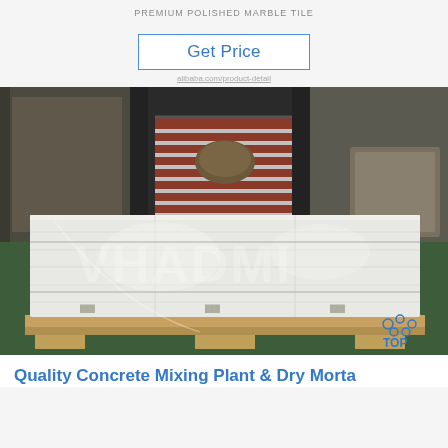PREMIUM POLISHED MARBLE TILE
Get Price
[Figure (photo): A large rectangular object wrapped in clear plastic shrink wrap, sitting on a wooden pallet inside an industrial facility. A conveyor belt system is visible in the background. A watermark reading 'VHADMI' is overlaid on the image. A 'TOP' logo with blue dots appears in the bottom right corner.]
Quality Concrete Mixing Plant & Dry Morta